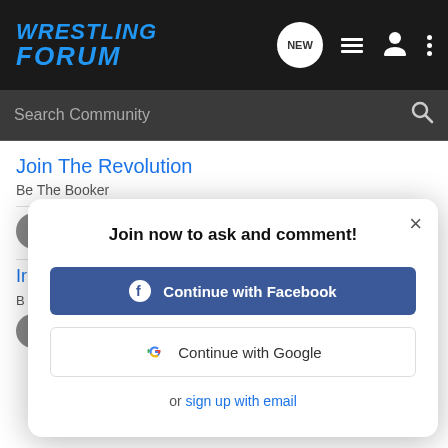Wrestling Forum — navigation bar with logo, NEW, list, user, and menu icons
Search Community
Join The Revolution
Be The Booker
[Figure (screenshot): Modal dialog: Join now to ask and comment! with Continue with Facebook button, Continue with Google button, and 'or sign up with email' link]
TNA: March to War